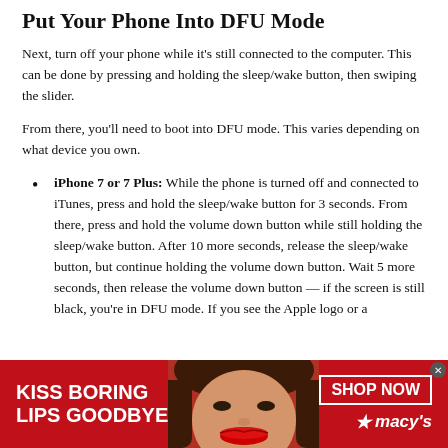Put Your Phone Into DFU Mode
Next, turn off your phone while it's still connected to the computer. This can be done by pressing and holding the sleep/wake button, then swiping the slider.
From there, you'll need to boot into DFU mode. This varies depending on what device you own.
iPhone 7 or 7 Plus: While the phone is turned off and connected to iTunes, press and hold the sleep/wake button for 3 seconds. From there, press and hold the volume down button while still holding the sleep/wake button. After 10 more seconds, release the sleep/wake button, but continue holding the volume down button. Wait 5 more seconds, then release the volume down button — if the screen is still black, you're in DFU mode. If you see the Apple logo or a
[Figure (photo): Advertisement banner for Macy's lipstick product. Red background with text 'KISS BORING LIPS GOODBYE' on the left, a woman's face with red lipstick in the center, and 'SHOP NOW' button and Macy's logo with star on the right.]